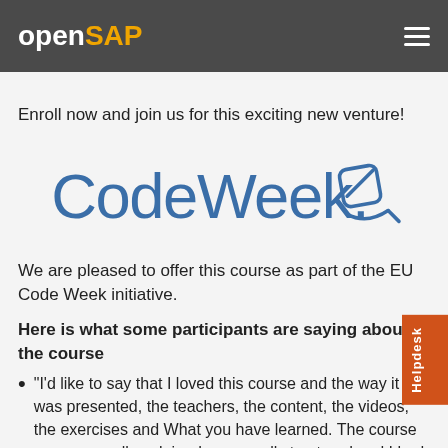openSAP
Enroll now and join us for this exciting new venture!
[Figure (logo): CodeWeek logo with text 'CodeWeek.' and a stylized eraser/rubber icon in blue]
We are pleased to offer this course as part of the EU Code Week initiative.
Here is what some participants are saying about the course
"I'd like to say that I loved this course and the way it was presented, the teachers, the content, the videos, the exercises and What you have learned. The course was very well explained , very well structured and I had an